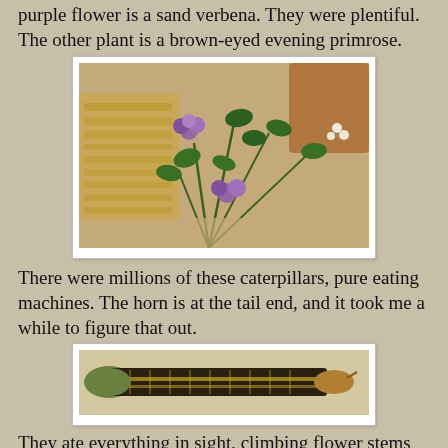purple flower is a sand verbena. They were plentiful. The other plant is a brown-eyed evening primrose.
[Figure (photo): Photo of sand verbena (purple flowers) and brown-eyed evening primrose growing in sandy soil with rocks]
There were millions of these caterpillars, pure eating machines. The horn is at the tail end, and it took me a while to figure that out.
[Figure (photo): Close-up photo of a caterpillar (hornworm) on a light background, elongated dark body]
They ate everything in sight, climbing flower stems to eat the bloom.
[Figure (photo): Partial photo at bottom of page, cut off]